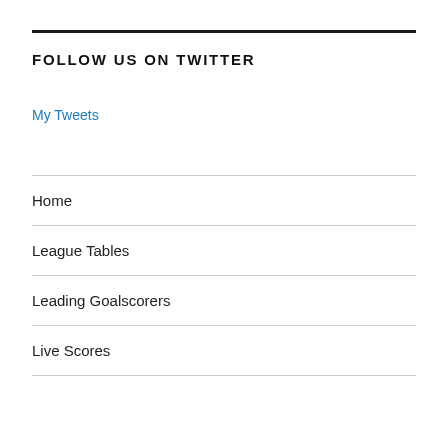FOLLOW US ON TWITTER
My Tweets
Home
League Tables
Leading Goalscorers
Live Scores